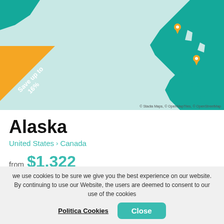[Figure (map): Map of Alaska coastline showing teal land masses and light blue water, with orange location pin markers along the coast. Features a diagonal orange banner in the lower-left corner with text 'Save up to 16%'. Map credit: © Stadia Maps, © OpenMapTiles, © OpenStreetMap.]
Alaska
United States > Canada
from $1,322
we use cookies to be sure we give you the best experience on our website. By continuing to use our Website, the users are deemed to consent to our use of the cookies
Politica Cookies
Close